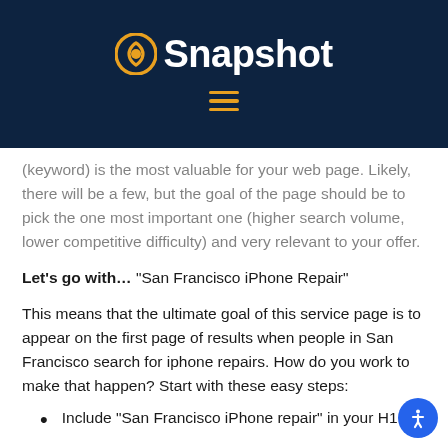Snapshot
(keyword) is the most valuable for your web page. Likely, there will be a few, but the goal of the page should be to pick the one most important one (higher search volume, lower competitive difficulty) and very relevant to your offer.
Let's go with… “San Francisco iPhone Repair”
This means that the ultimate goal of this service page is to appear on the first page of results when people in San Francisco search for iphone repairs. How do you work to make that happen? Start with these easy steps:
Include “San Francisco iPhone repair” in your H1